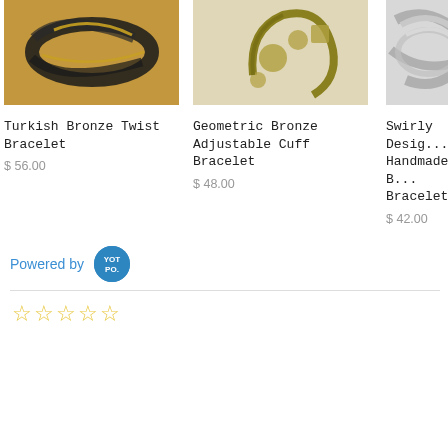[Figure (photo): Turkish Bronze Twist Bracelet product photo - dark twisted bronze bracelet on warm tan/gold background]
Turkish Bronze Twist Bracelet
$ 56.00
[Figure (photo): Geometric Bronze Adjustable Cuff Bracelet product photo - gold/olive tone geometric cuff bracelet on light background]
Geometric Bronze Adjustable Cuff Bracelet
$ 48.00
[Figure (photo): Swirly Design Handmade Bracelet product photo - silver swirly design bracelet partially cropped on right]
Swirly Desig... Handmade B... Bracelet
$ 42.00
Powered by YOT PO.
[Figure (logo): Yotpo logo badge - circular blue badge with YOT PO. text in white]
☆☆☆☆☆